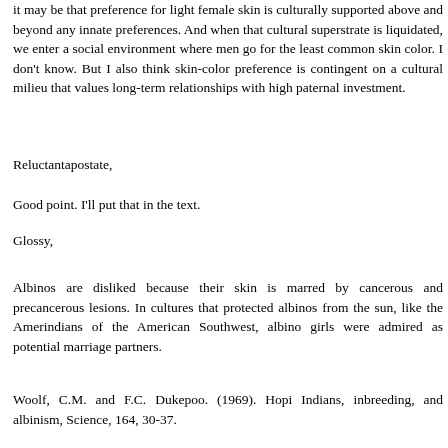it may be that preference for light female skin is culturally supported above and beyond any innate preferences. And when that cultural superstrate is liquidated, we enter a social environment where men go for the least common skin color. I don't know. But I also think skin-color preference is contingent on a cultural milieu that values long-term relationships with high paternal investment.
Reluctantapostate,
Good point. I'll put that in the text.
Glossy,
Albinos are disliked because their skin is marred by cancerous and precancerous lesions. In cultures that protected albinos from the sun, like the Amerindians of the American Southwest, albino girls were admired as potential marriage partners.
Woolf, C.M. and F.C. Dukepoo. (1969). Hopi Indians, inbreeding, and albinism, Science, 164, 30-37.